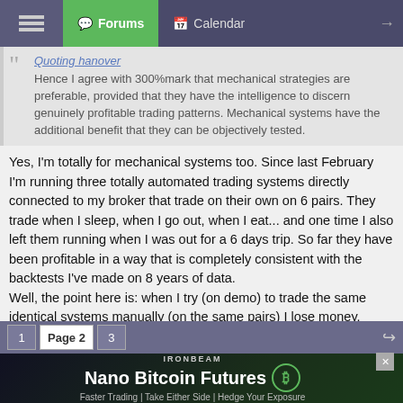Forums | Calendar
Quoting hanover
Hence I agree with 300%mark that mechanical strategies are preferable, provided that they have the intelligence to discern genuinely profitable trading patterns. Mechanical systems have the additional benefit that they can be objectively tested.
Yes, I'm totally for mechanical systems too. Since last February I'm running three totally automated trading systems directly connected to my broker that trade on their own on 6 pairs. They trade when I sleep, when I go out, when I eat... and one time I also left them running when I was out for a 6 days trip. So far they have been profitable in a way that is completely consistent with the backtests I've made on 8 years of data.
Well, the point here is: when I try (on demo) to trade the same identical systems manually (on the same pairs) I lose money. People would say that I'm not disciplined, that I have psychologic problems and so on. The reality is that my systems work on 15 minute bars and that they have a lot of inbuilt rules. It is simply impossible to monitor all that stuff for 6 pairs 24 hours a day for 5 day a week, unless you are strongly trying to get crazy. 😉
1 | Page 2 | 3